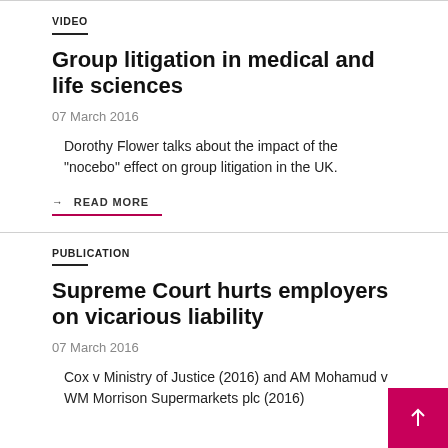VIDEO
Group litigation in medical and life sciences
07 March 2016
Dorothy Flower talks about the impact of the "nocebo" effect on group litigation in the UK.
→ READ MORE
PUBLICATION
Supreme Court hurts employers on vicarious liability
07 March 2016
Cox v Ministry of Justice (2016) and AM Mohamud v WM Morrison Supermarkets plc (2016)